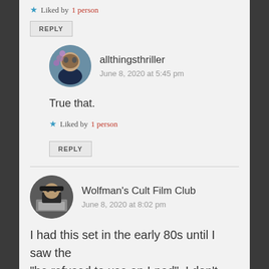Liked by 1 person
REPLY
allthingsthriller
June 8, 2020 at 5:45 pm
True that.
Liked by 1 person
REPLY
Wolfman's Cult Film Club
June 8, 2020 at 8:02 pm
I had this set in the early 80s until I saw the "he refused to use an I-pad". I don't really